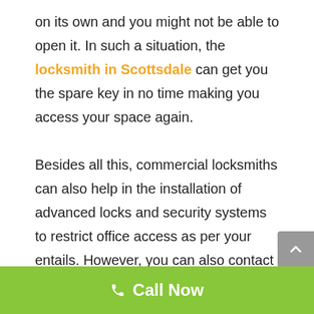on its own and you might not be able to open it. In such a situation, the locksmith in Scottsdale can get you the spare key in no time making you access your space again.

Besides all this, commercial locksmiths can also help in the installation of advanced locks and security systems to restrict office access as per your entails. However, you can also contact Arizona Locksmith if you find yourself in any of the lock hassles. The skilled and well-equipped pros here are capable of providing all the locksmith assistance you require – be it
Call Now